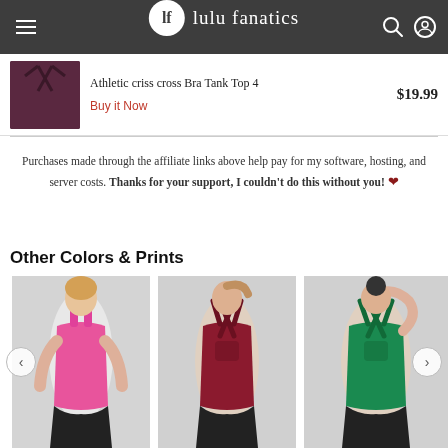lf lulu fanatics
Athletic criss cross Bra Tank Top 4 — $19.99 — Buy it Now
Purchases made through the affiliate links above help pay for my software, hosting, and server costs. Thanks for your support, I couldn't do this without you! ❤
Other Colors & Prints
[Figure (photo): Three athletic tank tops shown on models: pink tank (front view), maroon criss-cross back tank, and green criss-cross back tank. Navigation arrows on left and right sides of the carousel.]